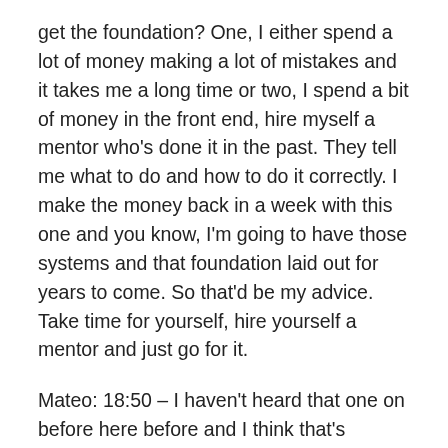get the foundation? One, I either spend a lot of money making a lot of mistakes and it takes me a long time or two, I spend a bit of money in the front end, hire myself a mentor who's done it in the past. They tell me what to do and how to do it correctly. I make the money back in a week with this one and you know, I'm going to have those systems and that foundation laid out for years to come. So that'd be my advice. Take time for yourself, hire yourself a mentor and just go for it.
Mateo: 18:50 – I haven't heard that one on before here before and I think that's awesome. That's an awesome insight. If you're serious about your training, you're also serious about your recovery. And the same should be applied to your business. You know, maybe I need to go unplug now. I don't know. But you make a great point. And I think especially if you're coming up against some